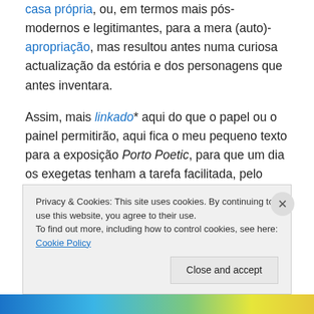casa própria, ou, em termos mais pós-modernos e legitimantes, para a mera (auto)-apropriação, mas resultou antes numa curiosa actualização da estória e dos personagens que antes inventara.

Assim, mais linkado* aqui do que o papel ou o painel permitirão, aqui fica o meu pequeno texto para a exposição Porto Poetic, para que um dia os exegetas tenham a tarefa facilitada, pelo menos no que diz respeito a descobrir conexões, referências e outras ligações obscuras que, por alguma razão misteriosa, fazem
Privacy & Cookies: This site uses cookies. By continuing to use this website, you agree to their use.
To find out more, including how to control cookies, see here: Cookie Policy